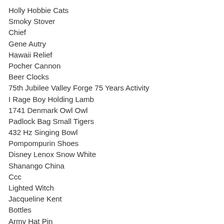Holly Hobbie Cats
Smoky Stover
Chief
Gene Autry
Hawaii Relief
Pocher Cannon
Beer Clocks
75th Jubilee Valley Forge 75 Years Activity
I Rage Boy Holding Lamb
1741 Denmark Owl Owl
Padlock Bag Small Tigers
432 Hz Singing Bowl
Pompompurin Shoes
Disney Lenox Snow White
Shanango China
Ccc
Lighted Witch
Jacqueline Kent
Bottles
Army Hat Pin
Jacqueline Kennedy Magazine
Attorneys Toyota